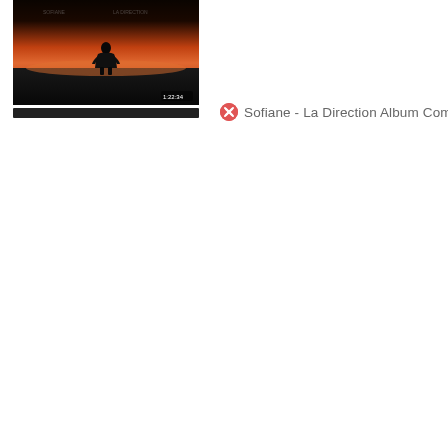[Figure (photo): Thumbnail image showing a person silhouetted against a dramatic sunset sky with orange and dark tones, horizon visible]
Sofiane - La Direction Album Complet